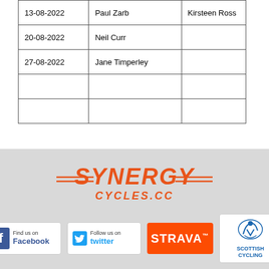| 13-08-2022 | Paul Zarb | Kirsteen Ross |
| 20-08-2022 | Neil Curr |  |
| 27-08-2022 | Jane Timperley |  |
|  |  |  |
|  |  |  |
[Figure (logo): Synergy Cycles.cc logo in orange with decorative double-line stripes on each side]
[Figure (logo): Facebook Find us on Facebook badge]
[Figure (logo): Twitter Follow us on Twitter badge]
[Figure (logo): Strava orange badge]
[Figure (logo): Scottish Cycling logo with blue cyclist icon]